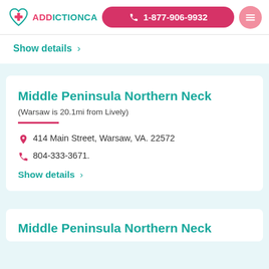ADDICTIONCA 1-877-906-9932
Show details >
Middle Peninsula Northern Neck
(Warsaw is 20.1mi from Lively)
414 Main Street, Warsaw, VA. 22572
804-333-3671.
Show details >
Middle Peninsula Northern Neck